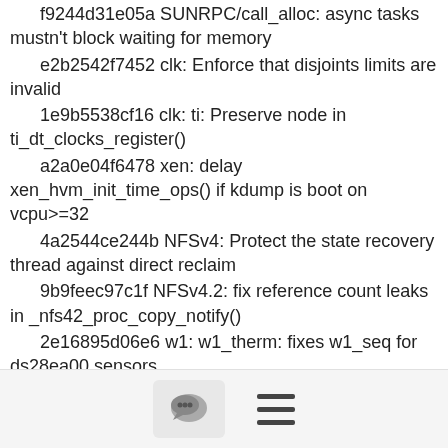f9244d31e05a SUNRPC/call_alloc: async tasks mustn't block waiting for memory
e2b2542f7452 clk: Enforce that disjoints limits are invalid
1e9b5538cf16 clk: ti: Preserve node in ti_dt_clocks_register()
a2a0e04f6478 xen: delay xen_hvm_init_time_ops() if kdump is boot on vcpu>=32
4a2544ce244b NFSv4: Protect the state recovery thread against direct reclaim
9b9feec97c1f NFSv4.2: fix reference count leaks in _nfs42_proc_copy_notify()
2e16895d06e6 w1: w1_therm: fixes w1_seq for ds28ea00 sensors
93498c6e775a staging: wfx: fix an error handling in wfx_init_common()
8f1d24f85ffd phy: amlogic: meson8b-usb2: Use dev_err_probe()
aa0b72967853 staging: vchiq_core: handle NULL result of find_service_by_handle
be4ecca95819 clk: si5341: fix reported clk_rate when output
[Figure (screenshot): Bottom navigation bar with chat bubble icon button and hamburger menu icon]